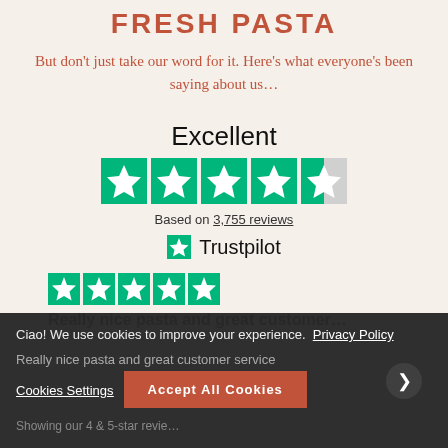FRESH PASTA
But don’t just take our word for it. Here’s what everyone’s been saying about us…
[Figure (infographic): Trustpilot rating: Excellent, 4.5 stars out of 5, based on 3,755 reviews. Trustpilot logo with green star.]
[Figure (infographic): 5-star Trustpilot review: Really nice pasta and great customer...]
Really nice pasta and great customer service
Showing our 4 & 5-star revie…
Ciao! We use cookies to improve your experience. Privacy Policy
Cookies Settings
Accept All Cookies